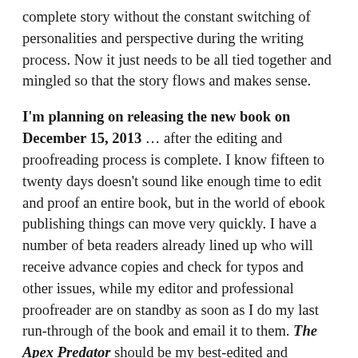complete story without the constant switching of personalities and perspective during the writing process. Now it just needs to be all tied together and mingled so that the story flows and makes sense.
I'm planning on releasing the new book on December 15, 2013 … after the editing and proofreading process is complete. I know fifteen to twenty days doesn't sound like enough time to edit and proof an entire book, but in the world of ebook publishing things can move very quickly. I have a number of beta readers already lined up who will receive advance copies and check for typos and other issues, while my editor and professional proofreader are on standby as soon as I do my last run-through of the book and email it to them. The Apex Predator should be my best-edited and proofed book. At least that's my goal. (Of course, some things will fall through the cracks, and when this happens I hope my readers will email me with the corrections. Again with ebooks, I can make changes and upload a new version of